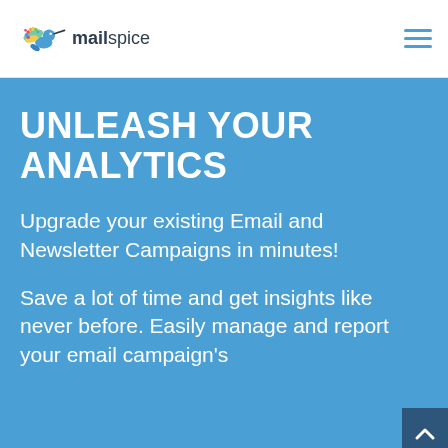[Figure (logo): Mailspice logo: colorful hummingbird icon with 'mail' in bold dark text and 'spice' in regular dark text]
[Figure (other): Hamburger menu icon with three horizontal blue lines]
UNLEASH YOUR ANALYTICS
Upgrade your existing Email and Newsletter Campaigns in minutes!
Save a lot of time and get insights like never before. Easily manage and report your email campaign's